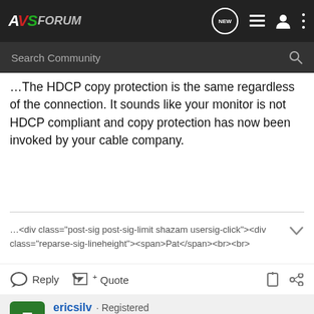AVSForum
The HDCP copy protection is the same regardless of the connection. It sounds like your monitor is not HDCP compliant and copy protection has now been invoked by your cable company.
<div class="post-sig post-sig-limit shazam usersig-click"><div class="reparse-sig-lineheight"><span>Pat</span><br><br>
Reply   Quote
ericsilv · Registered
Joined Oct 8, 2005 · 166 Posts
Discussion Starter · #3 · Jan 21, 2007